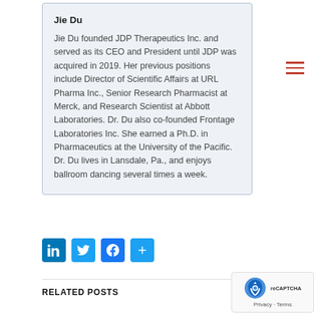Jie Du
Jie Du founded JDP Therapeutics Inc. and served as its CEO and President until JDP was acquired in 2019. Her previous positions include Director of Scientific Affairs at URL Pharma Inc., Senior Research Pharmacist at Merck, and Research Scientist at Abbott Laboratories. Dr. Du also co-founded Frontage Laboratories Inc. She earned a Ph.D. in Pharmaceutics at the University of the Pacific. Dr. Du lives in Lansdale, Pa., and enjoys ballroom dancing several times a week.
[Figure (other): Social media share buttons: LinkedIn, Twitter, Facebook, and a share/plus button]
RELATED POSTS